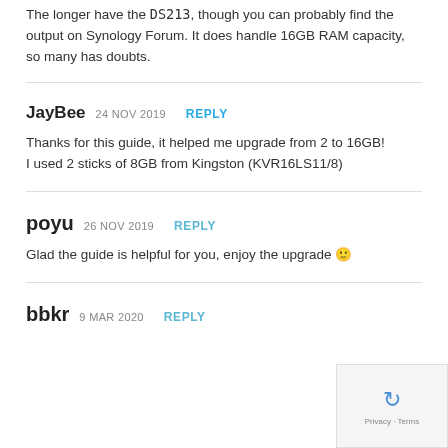The longer have the DS213, though you can probably find the output on Synology Forum. It does handle 16GB RAM capacity, so many has doubts.
JayBee 24 NOV 2019 REPLY
Thanks for this guide, it helped me upgrade from 2 to 16GB! I used 2 sticks of 8GB from Kingston (KVR16LS11/8)
poyu 26 NOV 2019 REPLY
Glad the guide is helpful for you, enjoy the upgrade 🙂
bbkr 9 MAR 2020 REPLY